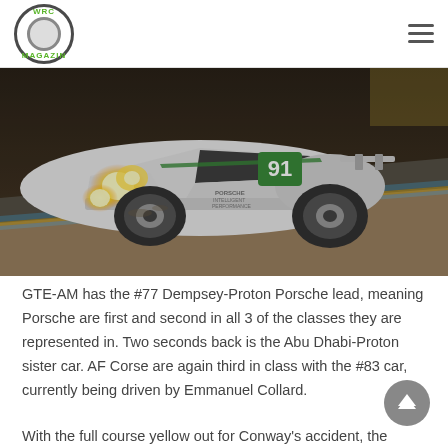WRC Magazine logo and hamburger menu
[Figure (photo): A white Porsche 911 RSR race car number 91, with yellow headlights on, racing at night on a track with a gravel trap visible, livery showing Porsche Intelligent Performance branding]
GTE-AM has the #77 Dempsey-Proton Porsche lead, meaning Porsche are first and second in all 3 of the classes they are represented in. Two seconds back is the Abu Dhabi-Proton sister car. AF Corse are again third in class with the #83 car, currently being driven by Emmanuel Collard.
With the full course yellow out for Conway's accident, the